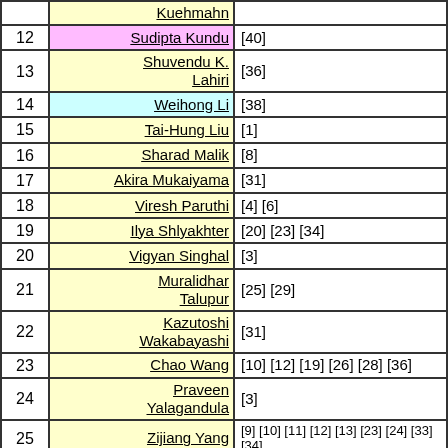| # | Name | References |
| --- | --- | --- |
|  | Kuehmahn |  |
| 12 | Sudipta Kundu | [40] |
| 13 | Shuvendu K. Lahiri | [36] |
| 14 | Weihong Li | [38] |
| 15 | Tai-Hung Liu | [1] |
| 16 | Sharad Malik | [8] |
| 17 | Akira Mukaiyama | [31] |
| 18 | Viresh Paruthi | [4] [6] |
| 19 | Ilya Shlyakhter | [20] [23] [34] |
| 20 | Vigyan Singhal | [3] |
| 21 | Muralidhar Talupur | [25] [29] |
| 22 | Kazutoshi Wakabayashi | [31] |
| 23 | Chao Wang | [10] [12] [19] [26] [28] [36] |
| 24 | Praveen Yalagandula | [3] |
| 25 | Zijiang Yang | [9] [10] [11] [12] [13] [23] [24] [33] [34] |
| 26 | Aleksandr Zaks | [34] |